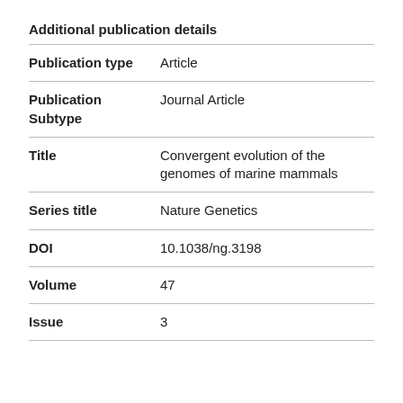Additional publication details
| Field | Value |
| --- | --- |
| Publication type | Article |
| Publication Subtype | Journal Article |
| Title | Convergent evolution of the genomes of marine mammals |
| Series title | Nature Genetics |
| DOI | 10.1038/ng.3198 |
| Volume | 47 |
| Issue | 3 |